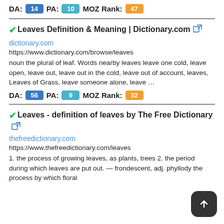DA: 14  PA: 10  MOZ Rank: 47
Leaves Definition & Meaning | Dictionary.com
dictionary.com
https://www.dictionary.com/browse/leaves
noun the plural of leaf. Words nearby leaves leave one cold, leave open, leave out, leave out in the cold, leave out of account, leaves, Leaves of Grass, leave someone alone, leave …
DA: 56  PA: 9  MOZ Rank: 32
Leaves - definition of leaves by The Free Dictionary
thefreedictionary.com
https://www.thefreedictionary.com/leaves
1. the process of growing leaves, as plants, trees 2. the period during which leaves are put out. — frondescent, adj. phyllody the process by which floral